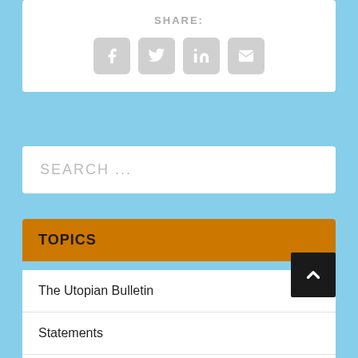SHARE:
[Figure (infographic): Social share buttons: Facebook, Twitter, LinkedIn, Email icons in gray rounded squares]
SEARCH ...
TOPICS
The Utopian Bulletin
Statements
Who We Are